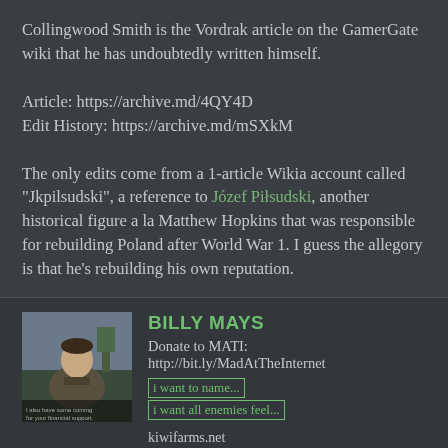Collingwood Smith is the Vordrak article on the GamerGate wiki that he has undoubtedly written himself.

Article: https://archive.md/4QY4D
Edit History: https://archive.md/mSXkM

The only edits come from a 1-article Wikia account called "Jkpilsudski", a reference to Józef Piłsudski, another historical figure a la Matthew Hopkins that was responsible for rebuilding Poland after World War 1. I guess the allegory is that he's rebuilding his own reputation.
[Figure (photo): Avatar photo of Billy Mays user]
BILLY MAYS
Donate to MATI: http://bit.ly/MadAtTheInternet
kiwifarms.net
Apr 26, 2016  #4